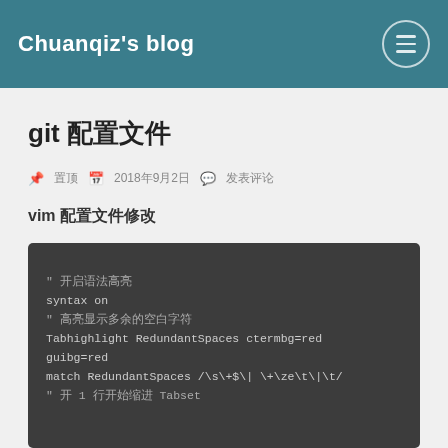Chuanqiz's blog
git 配置文件
置顶  2018年9月2日  发表评论
vim 配置文件修改
" 开启语法高亮
syntax on
" 高亮显示多余的空白字符
Tabhighlight RedundantSpaces ctermbg=red guibg=red
match RedundantSpaces /\s\+$\| \+\ze\t\|\t/
" 开 1 行开始缩进 Tabset